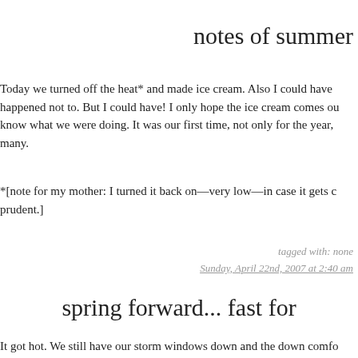notes of summer
Today we turned off the heat* and made ice cream. Also I could have happened not to. But I could have! I only hope the ice cream comes out know what we were doing. It was our first time, not only for the year, many.
*[note for my mother: I turned it back on—very low—in case it gets c prudent.]
tagged with: none
Sunday, April 22nd, 2007 at 2:40 am
spring forward... fast for
It got hot. We still have our storm windows down and the down comfo